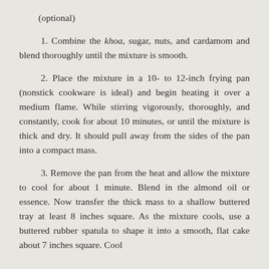(optional)
1. Combine the khoa, sugar, nuts, and cardamom and blend thoroughly until the mixture is smooth.
2. Place the mixture in a 10- to 12-inch frying pan (nonstick cookware is ideal) and begin heating it over a medium flame. While stirring vigorously, thoroughly, and constantly, cook for about 10 minutes, or until the mixture is thick and dry. It should pull away from the sides of the pan into a compact mass.
3. Remove the pan from the heat and allow the mixture to cool for about 1 minute. Blend in the almond oil or essence. Now transfer the thick mass to a shallow buttered tray at least 8 inches square. As the mixture cools, use a buttered rubber spatula to shape it into a smooth, flat cake about 7 inches square. Cool